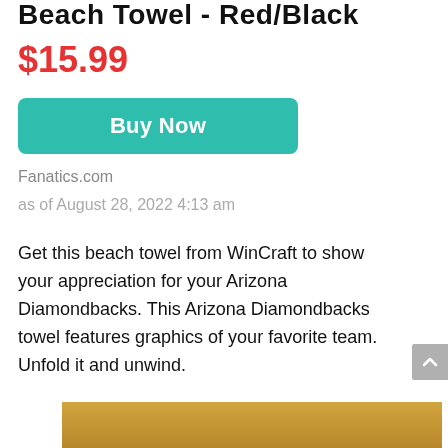Beach Towel - Red/Black
$15.99
Buy Now
Fanatics.com
as of August 28, 2022 4:13 am
Get this beach towel from WinCraft to show your appreciation for your Arizona Diamondbacks. This Arizona Diamondbacks towel features graphics of your favorite team. Unfold it and unwind.
[Figure (photo): Partial view of a sandy/golden textured background, likely the beach towel product photo.]